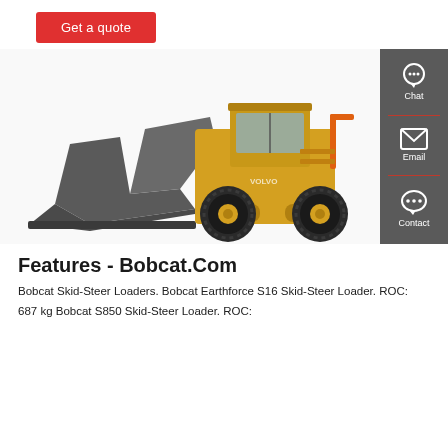Get a quote
[Figure (photo): Yellow Volvo wheel loader with large black bucket attachment, white background. Sidebar on right with Chat, Email, Contact icons on dark grey background.]
Features - Bobcat.Com
Bobcat Skid-Steer Loaders. Bobcat Earthforce S16 Skid-Steer Loader. ROC: 687 kg Bobcat S850 Skid-Steer Loader. ROC: